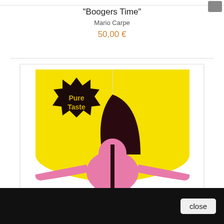"Boogers Time"
Mario Carpe
50,00 €
[Figure (illustration): Artwork showing a shield-shaped yellow background split vertically. Left half has a dark starburst badge with 'Pure Taste' text in gold/brown. A large dark brown arc shape sits in the center. A pink figure (viewed from behind, arms spread) occupies the lower portion in front of the yellow shield.]
close